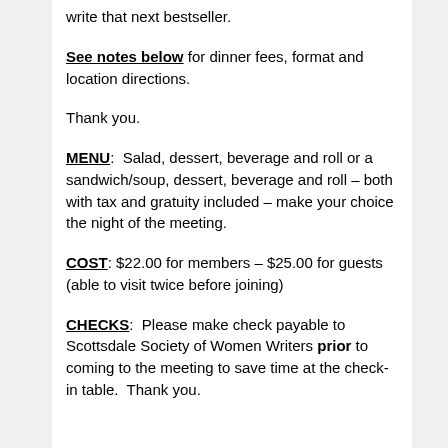write that next bestseller.
See notes below for dinner fees, format and location directions.
Thank you.
MENU:  Salad, dessert, beverage and roll or a sandwich/soup, dessert, beverage and roll – both with tax and gratuity included – make your choice the night of the meeting.
COST: $22.00 for members – $25.00 for guests (able to visit twice before joining)
CHECKS:  Please make check payable to Scottsdale Society of Women Writers prior to coming to the meeting to save time at the check-in table.  Thank you.